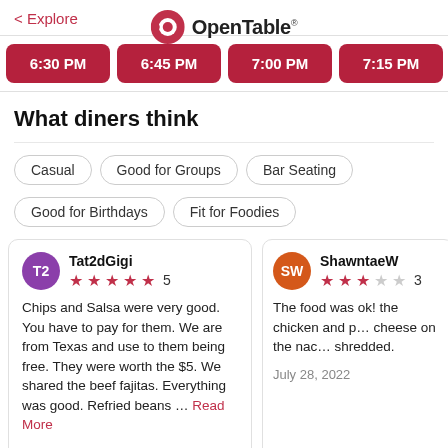< Explore   OpenTable
6:30 PM | 6:45 PM | 7:00 PM | 7:15 PM | 7:30 PM | 7:...
What diners think
Casual
Good for Groups
Bar Seating
Good for Birthdays
Fit for Foodies
Tat2dGigi — 5 stars — Chips and Salsa were very good. You have to pay for them. We are from Texas and use to them being free. They were worth the $5. We shared the beef fajitas. Everything was good. Refried beans ... Read More — July 31, 2022
ShawntaeW — 3 stars — The food was ok! the chicken and p... cheese on the nac... shredded. — July 28, 2022